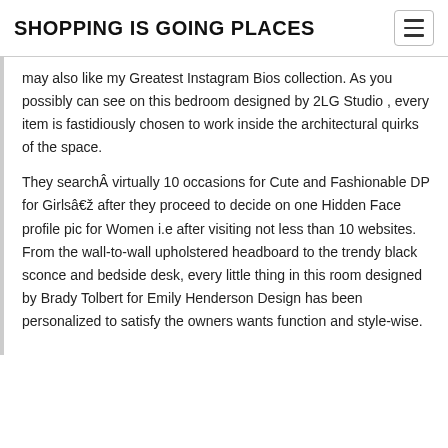SHOPPING IS GOING PLACES
may also like my Greatest Instagram Bios collection. As you possibly can see on this bedroom designed by 2LG Studio , every item is fastidiously chosen to work inside the architectural quirks of the space.
They searchÂ virtually 10 occasions for Cute and Fashionable DP for Girlsâ€� after they proceed to decide on one Hidden Face profile pic for Women i.e after visiting not less than 10 websites. From the wall-to-wall upholstered headboard to the trendy black sconce and bedside desk, every little thing in this room designed by Brady Tolbert for Emily Henderson Design has been personalized to satisfy the owners wants function and style-wise.